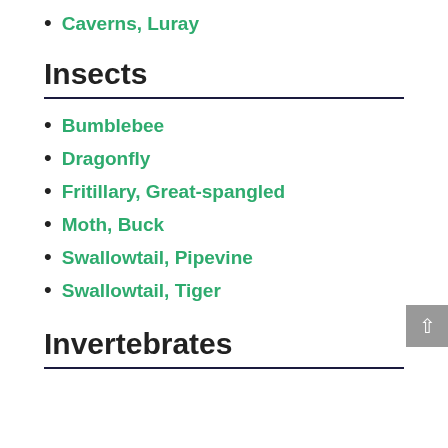Caverns, Luray
Insects
Bumblebee
Dragonfly
Fritillary, Great-spangled
Moth, Buck
Swallowtail, Pipevine
Swallowtail, Tiger
Invertebrates